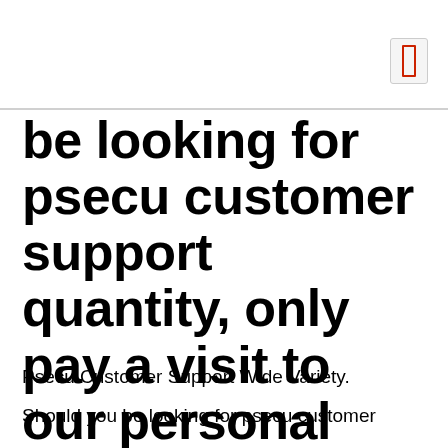be looking for psecu customer support quantity, only pay a visit to our personal links below
Psecu Customer Support Wide Variety.
Should you be looking for psecu customer